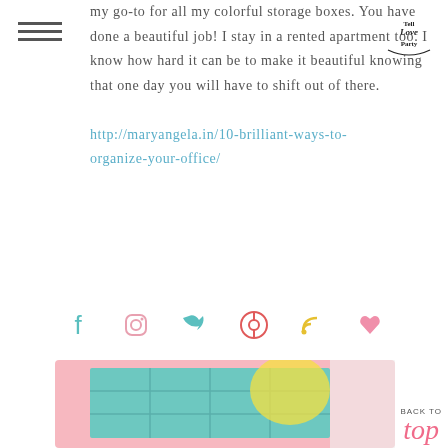[Figure (logo): Tell Love Party handwritten logo in top-right corner]
my go-to for all my colorful storage boxes. You have done a beautiful job! I stay in a rented apartment too. I know how hard it can be to make it beautiful knowing that one day you will have to shift out of there.
http://maryangela.in/10-brilliant-ways-to-organize-your-office/
REPLY
[Figure (infographic): Social media icons row: Facebook (teal), Instagram (pink/outline), Twitter (teal), Pinterest (coral), RSS (yellow), Heart (pink)]
[Figure (illustration): Bottom partial image showing pink-bordered frame with teal grid squares and yellow splash, partial view of a colorful organizing photo]